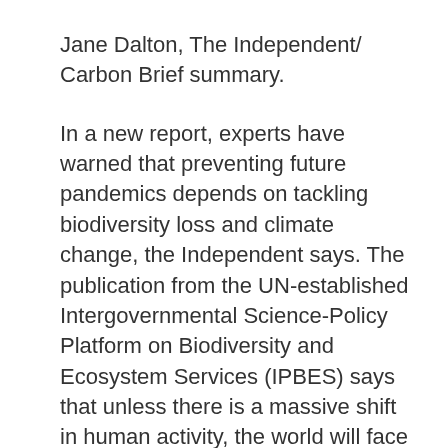Jane Dalton, The Independent/ Carbon Brief summary.
In a new report, experts have warned that preventing future pandemics depends on tackling biodiversity loss and climate change, the Independent says. The publication from the UN-established Intergovernmental Science-Policy Platform on Biodiversity and Ecosystem Services (IPBES) says that unless there is a massive shift in human activity, the world will face further disease outbreaks, the news outlet explains. The report says: “The underlying causes of pandemics are the same global environmental changes that drive biodiversity loss and climate change. These include land-use change, agricultural expansion and